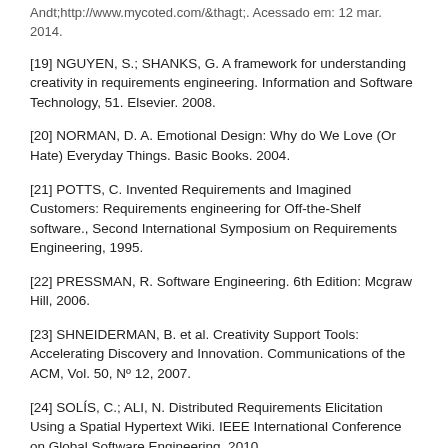Andt;http://www.mycoted.com/&thagt;. Acessado em: 12 mar. 2014.
[19] NGUYEN, S.; SHANKS, G. A framework for understanding creativity in requirements engineering. Information and Software Technology, 51. Elsevier. 2008.
[20] NORMAN, D. A. Emotional Design: Why do We Love (Or Hate) Everyday Things. Basic Books. 2004.
[21] POTTS, C. Invented Requirements and Imagined Customers: Requirements engineering for Off-the-Shelf software., Second International Symposium on Requirements Engineering, 1995.
[22] PRESSMAN, R. Software Engineering. 6th Edition: Mcgraw Hill, 2006.
[23] SHNEIDERMAN, B. et al. Creativity Support Tools: Accelerating Discovery and Innovation. Communications of the ACM, Vol. 50, Nº 12, 2007.
[24] SOLÍS, C.; ALI, N. Distributed Requirements Elicitation Using a Spatial Hypertext Wiki. IEEE International Conference on Global Software Engineering. 2010.
[25] VIEIRA, Elton. Guia de Padrões de Criatividade: Um apoio à aplicação de técnicas de criatividade em projetos de desenvolvimento de software. 2012. Dissertação (Mestrado), Universidade Federal de Pernambuco, Pós-graduação em